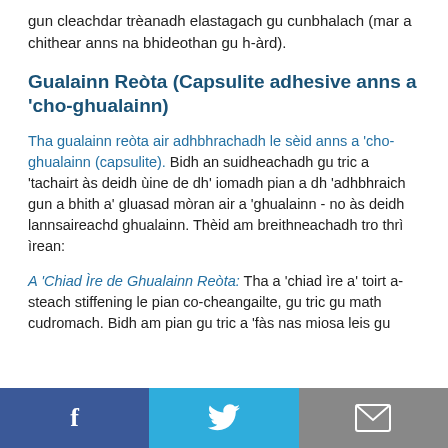gun cleachdar trèanadh elastagach gu cunbhalach (mar a chithear anns na bhideothan gu h-àrd).
Gualainn Reòta (Capsulite adhesive anns a 'cho-ghualainn)
Tha gualainn reòta air adhbhrachadh le sèid anns a 'cho-ghualainn (capsulite). Bidh an suidheachadh gu tric a 'tachairt às deidh ùine de dh' iomadh pian a dh 'adhbhraich gun a bhith a' gluasad mòran air a 'ghualainn - no às deidh lannsaireachd ghualainn. Thèid am breithneachadh tro thrì ìrean:
A 'Chiad Ìre de Ghualainn Reòta: Tha a 'chiad ìre a' toirt a-steach stiffening le pian co-cheangailte, gu tric gu math cudromach. Bidh am pian gu tric a 'fàs nas miosa leis gu
[Figure (infographic): Social media sharing bar at the bottom with Facebook (blue), Twitter (light blue), and Email (grey) buttons]